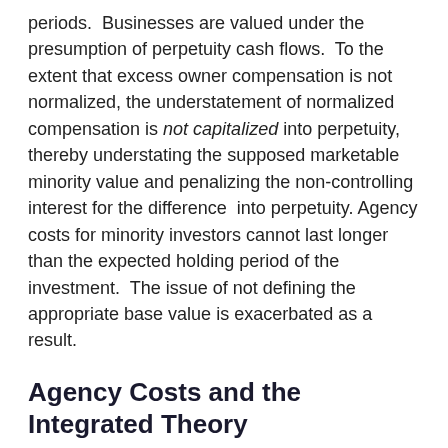periods.  Businesses are valued under the presumption of perpetuity cash flows.  To the extent that excess owner compensation is not normalized, the understatement of normalized compensation is not capitalized into perpetuity, thereby understating the supposed marketable minority value and penalizing the non-controlling interest for the difference  into perpetuity.  Agency costs for minority investors cannot last longer than the expected holding period of the investment.  The issue of not defining the appropriate base value is exacerbated as a result.
Agency Costs and the Integrated Theory
How do we address the concept of control (or lack thereof) in the context of the Integrated Theory. The steps are as follows: